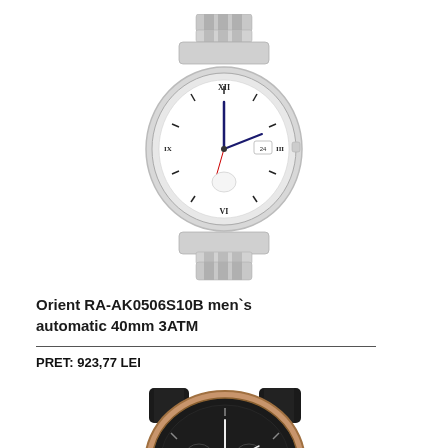[Figure (photo): Silver stainless steel Orient automatic watch with white dial, roman numerals, and metal bracelet strap, photographed from the front]
Orient RA-AK0506S10B men`s automatic 40mm 3ATM
PRET: 923,77 LEI
[Figure (photo): Black and rose gold Orient watch with dark dial, partially visible from the top, with black rubber strap]